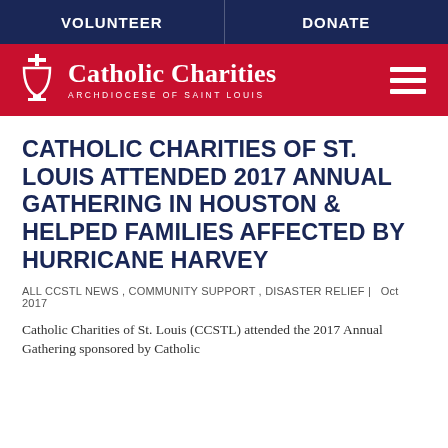VOLUNTEER   DONATE
[Figure (logo): Catholic Charities Archdiocese of Saint Louis logo in white on red background, with a stylized chalice/cross icon and hamburger menu icon on the right]
CATHOLIC CHARITIES OF ST. LOUIS ATTENDED 2017 ANNUAL GATHERING IN HOUSTON & HELPED FAMILIES AFFECTED BY HURRICANE HARVEY
ALL CCSTL NEWS , COMMUNITY SUPPORT , DISASTER RELIEF |   Oct 2017
Catholic Charities of St. Louis (CCSTL) attended the 2017 Annual Gathering sponsored by Catholic